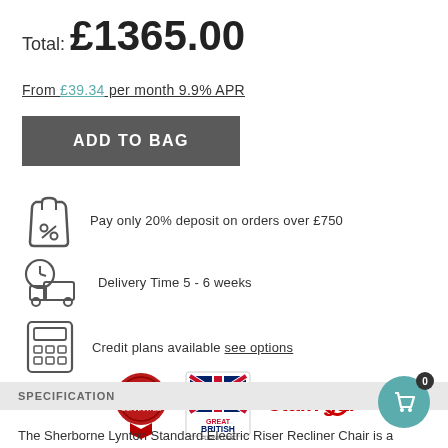Total: £1365.00
From £39.34 per month 9.9% APR
ADD TO BAG
Pay only 20% deposit on orders over £750
Delivery Time 5 - 6 weeks
Credit plans available see options
[Figure (logo): Three trust badges: 5 Year Guarantee seal, Made in Great Britain furniture badge, Staingard logo]
SPECIFICATION
The Sherborne Lynton Standard Electric Riser Recliner Chair is a